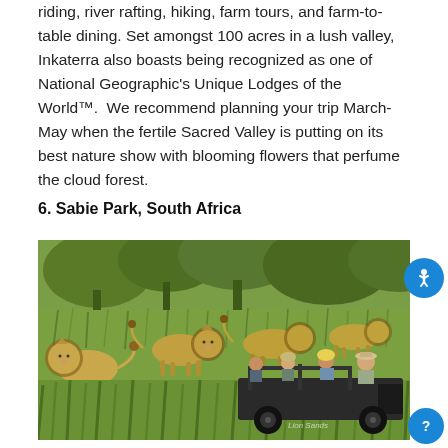riding, river rafting, hiking, farm tours, and farm-to-table dining. Set amongst 100 acres in a lush valley, Inkaterra also boasts being recognized as one of National Geographic's Unique Lodges of the World™.  We recommend planning your trip March-May when the fertile Sacred Valley is putting on its best nature show with blooming flowers that perfume the cloud forest.
6. Sabie Park, South Africa
[Figure (photo): Safari vehicle with tourists observing a group of male lions walking through tall green grass in Sabie Park, South Africa.]